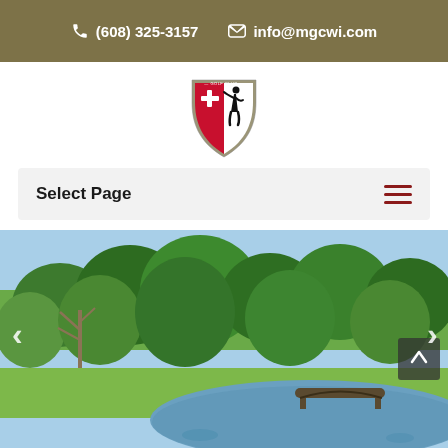(608) 325-3157   info@mgcwi.com
[Figure (logo): Monroe Golf Club shield logo with golfer silhouette and Swiss cross]
Select Page
[Figure (photo): Golf course landscape with pond, trees, and wooden bridge]